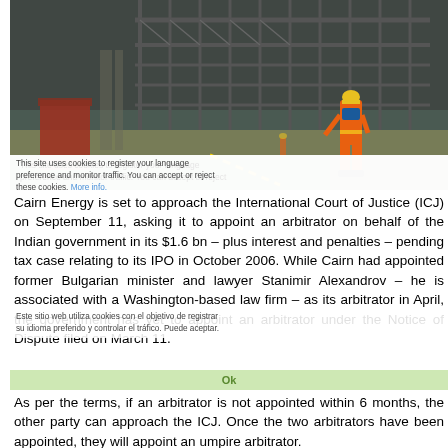[Figure (photo): Industrial/oil facility with scaffolding structures; worker in orange safety suit and yellow hard hat walking on green surface under dark cloudy sky]
Cairn Energy is set to approach the International Court of Justice (ICJ) on September 11, asking it to appoint an arbitrator on behalf of the Indian government in its $1.6 bn – plus interest and penalties – pending tax case relating to its IPO in October 2006. While Cairn had appointed former Bulgarian minister and lawyer Stanimir Alexandrov – he is associated with a Washington-based law firm – as its arbitrator in April, the government has yet to appoint an arbitrator under the Notice of Dispute filed on March 11.
As per the terms, if an arbitrator is not appointed within 6 months, the other party can approach the ICJ. Once the two arbitrators have been appointed, they will appoint an umpire arbitrator.